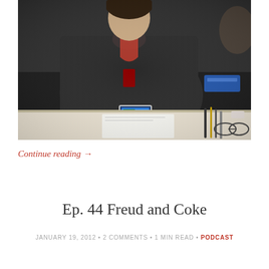[Figure (photo): A person wearing a black outfit and a red lanyard sitting at a table, holding a small electronic device with a blue screen. The table has papers, pens, pencils, glasses, and other items on it.]
Continue reading →
Ep. 44 Freud and Coke
JANUARY 19, 2012 • 2 COMMENTS • 1 MIN READ • PODCAST